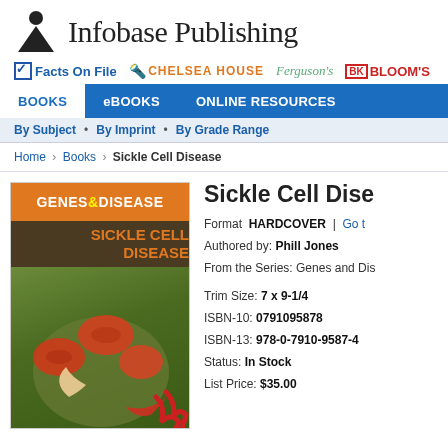[Figure (logo): Infobase Publishing logo with person silhouette icon and company name]
[Figure (logo): Brand bar showing Facts On File, Chelsea House, Ferguson's, and Bloom's imprint logos]
BOOKS | eBOOKS | ONLINE RESOURCES
By Subject • By Imprint • By Grade Range
Home › Books › Sickle Cell Disease
[Figure (photo): Book cover for Sickle Cell Disease from Genes & Disease series, showing microscopic image of red blood cells including sickle-shaped cells]
Sickle Cell Disease
Format  HARDCOVER  |  Go to
Authored by: Phill Jones
From the Series: Genes and Disease
Trim Size: 7 x 9-1/4
ISBN-10: 0791095878
ISBN-13: 978-0-7910-9587-4
Status: In Stock
List Price: $35.00